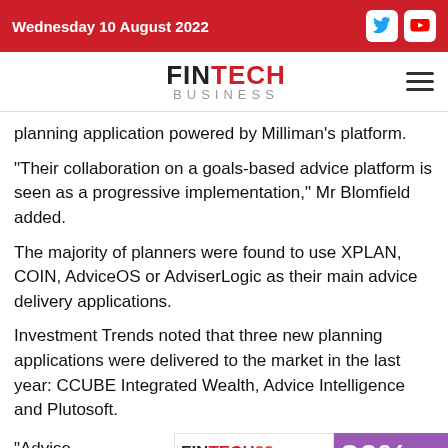Wednesday 10 August 2022
[Figure (logo): FINTECH BUSINESS logo with hamburger menu]
planning application powered by Milliman’s platform.
“Their collaboration on a goals-based advice platform is seen as a progressive implementation,” Mr Blomfield added.
The majority of planners were found to use XPLAN, COIN, AdviceOS or AdviserLogic as their main advice delivery applications.
Investment Trends noted that three new planning applications were delivered to the market in the last year: CCUBE Integrated Wealth, Advice Intelligence and Plutosoft.
“Advise… diverse… o a …els,
[Figure (infographic): FINTECH22 ad banner with 20% Off Delegate Tickets, 30 Nov - 1 Dec 2022 in Sydney, purple background]